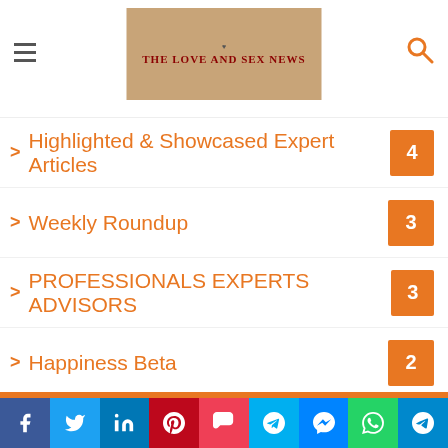THE LOVE AND SEX NEWS
Highlighted & Showcased Expert Articles 4
Weekly Roundup 3
PROFESSIONALS EXPERTS ADVISORS 3
Happiness Beta 2
Sexy Product Stuff 1
Most Viewed Stories